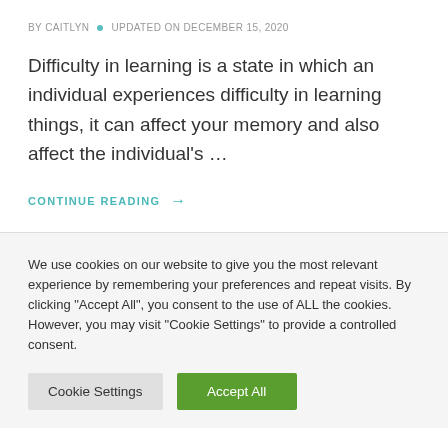BY CAITLYN • UPDATED ON DECEMBER 15, 2020
Difficulty in learning is a state in which an individual experiences difficulty in learning things, it can affect your memory and also affect the individual's ...
CONTINUE READING →
We use cookies on our website to give you the most relevant experience by remembering your preferences and repeat visits. By clicking "Accept All", you consent to the use of ALL the cookies. However, you may visit "Cookie Settings" to provide a controlled consent.